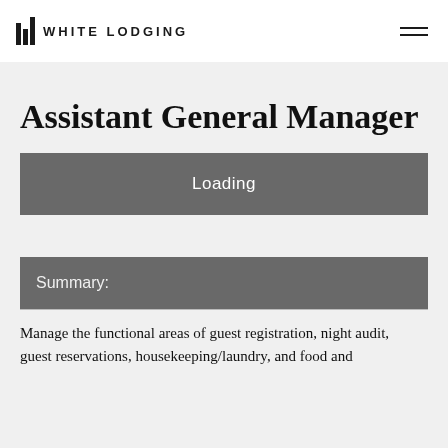IIL WHITE LODGING
Assistant General Manager
Loading
Summary:
Manage the functional areas of guest registration, night audit, guest reservations, housekeeping/laundry, and food and